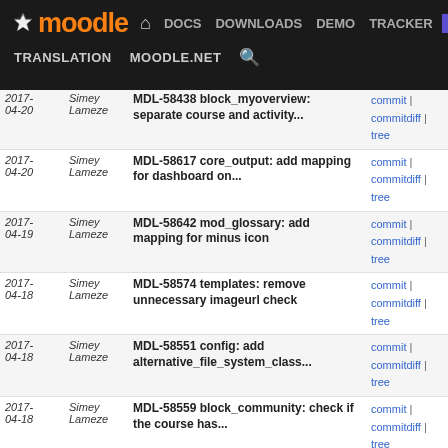Moodle DEV — Navigation bar with DOCS, DOWNLOADS, DEMO, TRACKER, DEV links and TRANSLATION, MOODLE.NET, search
| Date | Author | Commit Message | Links |
| --- | --- | --- | --- |
| 2017-04-20 | Simey Lameze | MDL-58438 block_myoverview: separate course and activity... | commit | commitdiff | tree |
| 2017-04-20 | Simey Lameze | MDL-58617 core_output: add mapping for dashboard on... | commit | commitdiff | tree |
| 2017-04-19 | Simey Lameze | MDL-58642 mod_glossary: add mapping for minus icon | commit | commitdiff | tree |
| 2017-04-18 | Simey Lameze | MDL-58574 templates: remove unnecessary imageurl check | commit | commitdiff | tree |
| 2017-04-18 | Simey Lameze | MDL-58551 config: add alternative_file_system_class... | commit | commitdiff | tree |
| 2017-04-18 | Simey Lameze | MDL-58559 block_community: check if the course has... | commit | commitdiff | tree |
| 2017-04-06 | Simey Lameze | MDL-55611 core_tests: replace remaining l follow coursename... | commit | commitdiff | tree |
| 2017-04-04 | Simey Lameze | MDL-58474 block_myoverview: change step datetime format | commit | commitdiff | tree |
| 2017-04-04 | Simey Lameze | MDL-58474 core_calendar: add missing action_event_interface... | commit | commitdiff | tree |
| 2017-04-04 | Simey Lameze | MDL-58438 mod_lti: replace step using course overview... | commit | commitdiff | tree |